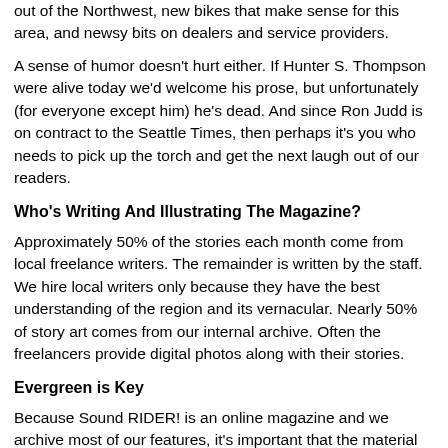out of the Northwest, new bikes that make sense for this area, and newsy bits on dealers and service providers.
A sense of humor doesn't hurt either. If Hunter S. Thompson were alive today we'd welcome his prose, but unfortunately (for everyone except him) he's dead. And since Ron Judd is on contract to the Seattle Times, then perhaps it's you who needs to pick up the torch and get the next laugh out of our readers.
Who's Writing And Illustrating The Magazine?
Approximately 50% of the stories each month come from local freelance writers. The remainder is written by the staff. We hire local writers only because they have the best understanding of the region and its vernacular. Nearly 50% of story art comes from our internal archive. Often the freelancers provide digital photos along with their stories.
Evergreen is Key
Because Sound RIDER! is an online magazine and we archive most of our features, it's important that the material we run has an evergreen appeal for up to three years. Quick bits of news that have little relevance a month later usually